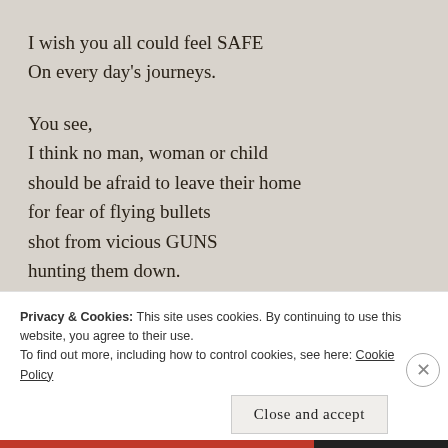I wish you all could feel SAFE
On every day's journeys.

You see,
I think no man, woman or child
should be afraid to leave their home
for fear of flying bullets
shot from vicious GUNS
hunting them down.
August 10, 2019
Privacy & Cookies: This site uses cookies. By continuing to use this website, you agree to their use.
To find out more, including how to control cookies, see here: Cookie Policy
Close and accept